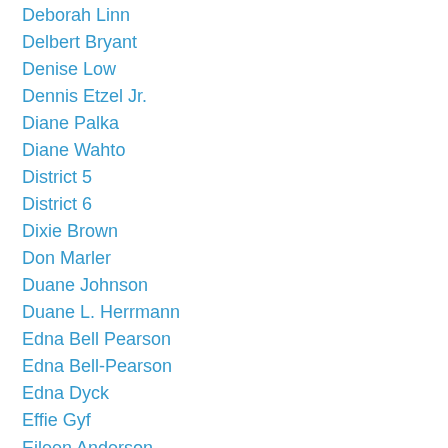Deborah Linn
Delbert Bryant
Denise Low
Dennis Etzel Jr.
Diane Palka
Diane Wahto
District 5
District 6
Dixie Brown
Don Marler
Duane Johnson
Duane L. Herrmann
Edna Bell Pearson
Edna Bell-Pearson
Edna Dyck
Effie Gyf
Eileen Anderson
Elaine McAllister
Events
Evie Green
Frankie Roland